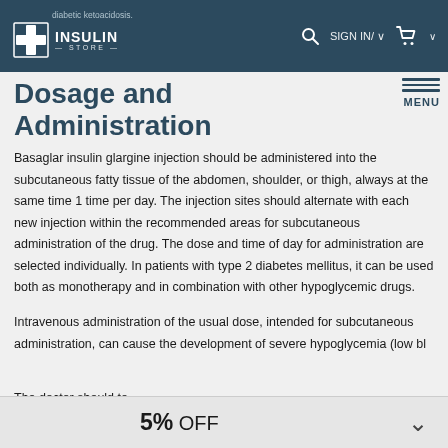Insulin Store — diabetic ketoacidosis. SIGN IN / MENU
Dosage and Administration
Basaglar insulin glargine injection should be administered into the subcutaneous fatty tissue of the abdomen, shoulder, or thigh, always at the same time 1 time per day. The injection sites should alternate with each new injection within the recommended areas for subcutaneous administration of the drug. The dose and time of day for administration are selected individually. In patients with type 2 diabetes mellitus, it can be used both as monotherapy and in combination with other hypoglycemic drugs.
Intravenous administration of the usual dose, intended for subcutaneous administration, can cause the development of severe hypoglycemia (low bl...
The doctor should te...
Basaglar...
5% OFF